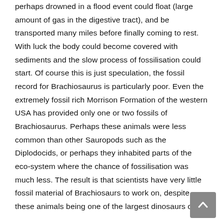perhaps drowned in a flood event could float (large amount of gas in the digestive tract), and be transported many miles before finally coming to rest. With luck the body could become covered with sediments and the slow process of fossilisation could start. Of course this is just speculation, the fossil record for Brachiosaurus is particularly poor. Even the extremely fossil rich Morrison Formation of the western USA has provided only one or two fossils of Brachiosaurus. Perhaps these animals were less common than other Sauropods such as the Diplodocids, or perhaps they inhabited parts of the eco-system where the chance of fossilisation was much less. The result is that scientists have very little fossil material of Brachiosaurs to work on, despite these animals being one of the largest dinosaurs of
[Figure (other): Scroll-to-top button in bottom-right corner, grey square with upward chevron arrow icon]